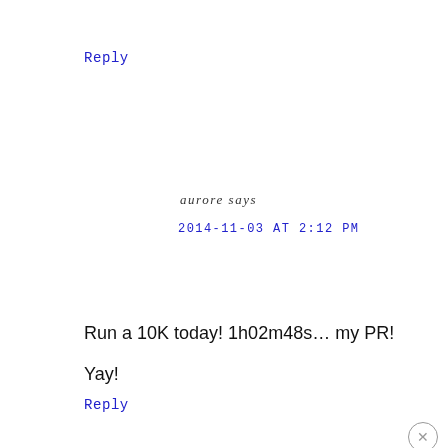Reply
aurore says
2014-11-03 AT 2:12 PM
Run a 10K today! 1h02m48s… my PR!
Yay!
Reply